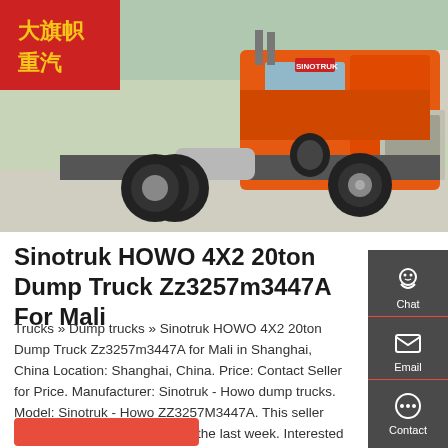[Figure (photo): Orange Sinotruk HOWO dump truck (tractor unit) parked outdoors, side/front view, with red banner/flag in background showing Chinese text]
Sinotruk HOWO 4X2 20ton Dump Truck Zz3257m3447A For Mali
Trucks » Dump trucks » Sinotruk HOWO 4X2 20ton Dump Truck Zz3257m3447A for Mali in Shanghai, China Location: Shanghai, China. Price: Contact Seller for Price. Manufacturer: Sinotruk - Howo dump trucks. Model: Sinotruk - Howo ZZ3257M3447A. This seller has been contacted 8 times in the last week. Interested in this machine? Click to Request